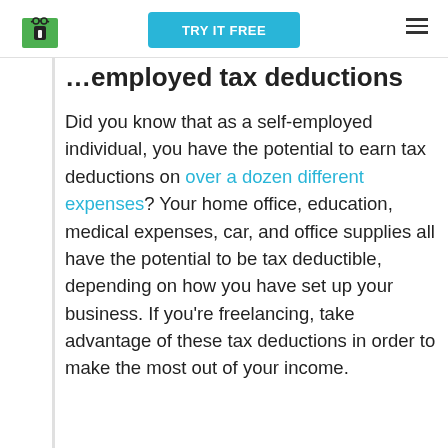TRY IT FREE
…employed tax deductions
Did you know that as a self-employed individual, you have the potential to earn tax deductions on over a dozen different expenses? Your home office, education, medical expenses, car, and office supplies all have the potential to be tax deductible, depending on how you have set up your business. If you're freelancing, take advantage of these tax deductions in order to make the most out of your income.